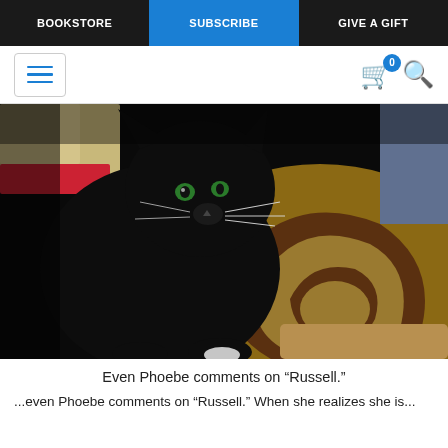BOOKSTORE | SUBSCRIBE | GIVE A GIFT
[Figure (photo): A black cat sitting on a patterned brown and tan rug with swirl designs, looking downward.]
Even Phoebe comments on "Russell."
...even Phoebe comments on "Russell." When she realizes she is...